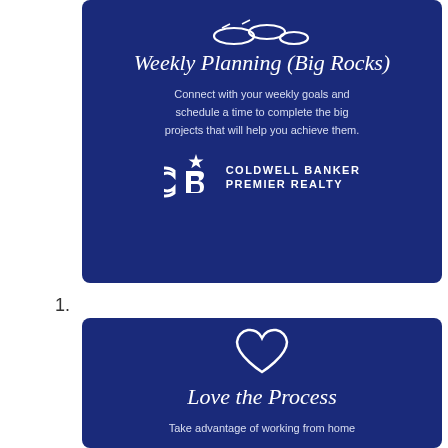[Figure (infographic): Dark blue card with rocks icon, script title 'Weekly Planning (Big Rocks)', descriptive text, and Coldwell Banker Premier Realty logo]
1.
[Figure (infographic): Dark blue card with heart icon, script title 'Love the Process', and partial text 'Take advantage of working from home']